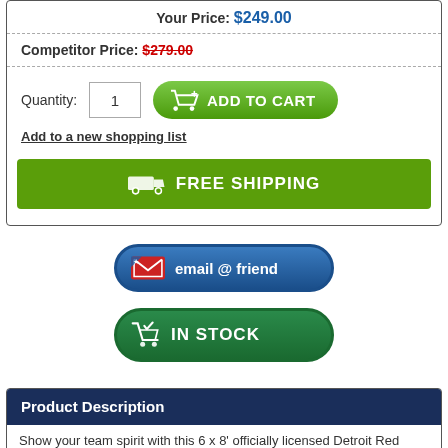Your Price: $249.00
Competitor Price: $279.00
Quantity: 1
[Figure (other): Green 'ADD TO CART' button with shopping cart icon]
Add to a new shopping list
[Figure (other): Green FREE SHIPPING banner with truck icon]
[Figure (other): Blue 'email @ friend' button with envelope icon]
[Figure (other): Green 'IN STOCK' button with cart/checkmark icon]
Product Description
Show your team spirit with this 6 x 8' officially licensed Detroit Red